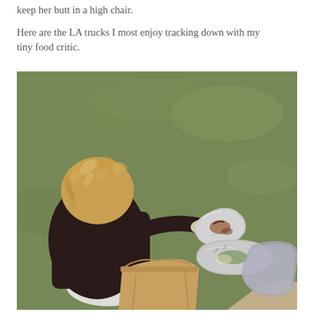keep her butt in a high chair.
Here are the LA trucks I most enjoy tracking down with my tiny food critic.
[Figure (photo): A toddler with curly blonde hair, wearing a dark outfit, sitting on grass and reaching toward food wrapped in foil and a brown paper bag. Viewed from behind.]